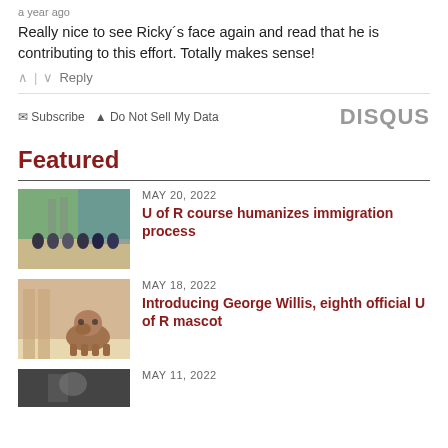a year ago
Really nice to see Ricky´s face again and read that he is contributing to this effort. Totally makes sense!
^ | v  Reply
✉ Subscribe  ▲ Do Not Sell My Data   DISQUS
Featured
MAY 20, 2022
U of R course humanizes immigration process
[Figure (photo): Group of students posing outdoors near a building structure]
MAY 18, 2022
Introducing George Willis, eighth official U of R mascot
[Figure (photo): Bulldog mascot standing on a walkway near columns]
MAY 11, 2022
[Figure (photo): Partially visible photo at bottom of page]